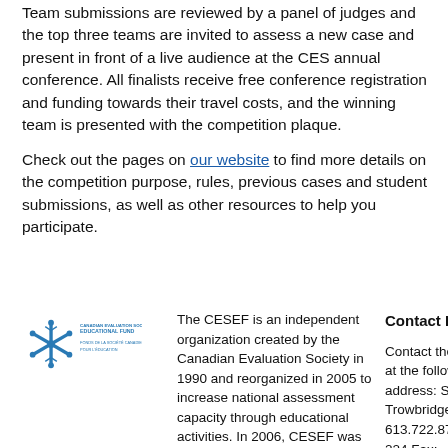Team submissions are reviewed by a panel of judges and the top three teams are invited to assess a new case and present in front of a live audience at the CES annual conference. All finalists receive free conference registration and funding towards their travel costs, and the winning team is presented with the competition plaque.
Check out the pages on our website to find more details on the competition purpose, rules, previous cases and student submissions, as well as other resources to help you participate.
[Figure (logo): CESEF / Canadian Evaluation Society Educational Fund logo with snowflake-like blue graphic and text]
The CESEF is an independent organization created by the Canadian Evaluation Society in 1990 and reorganized in 2005 to increase national assessment capacity through educational activities. In 2006, CESEF was officially registered as a Canadian charity.

The Fund maintains partnerships with the Canadian Evaluation Society and the...
Contact Details
Contact the secretariat at the following address: Shirley Trowbridge Telephone: 613.722.8796, ext. 224 Fax: 613.729.6206 email: shirley.trowbridge@the